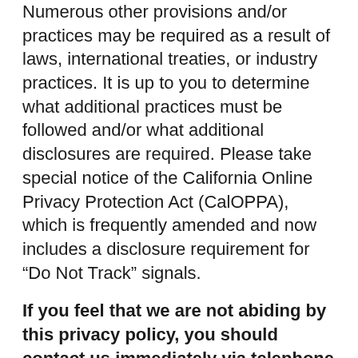Numerous other provisions and/or practices may be required as a result of laws, international treaties, or industry practices. It is up to you to determine what additional practices must be followed and/or what additional disclosures are required. Please take special notice of the California Online Privacy Protection Act (CalOPPA), which is frequently amended and now includes a disclosure requirement for “Do Not Track” signals.
If you feel that we are not abiding by this privacy policy, you should contact us immediately via telephone or via email.